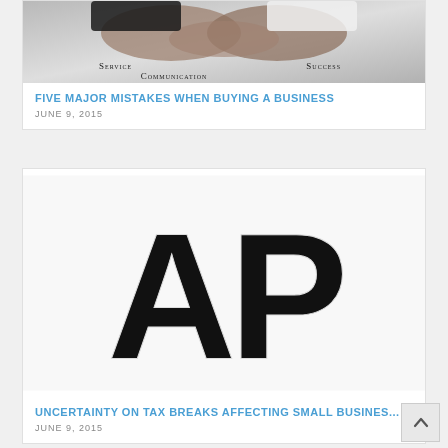[Figure (photo): Handshake image with labels Service, Communication, and Success on a grey background]
FIVE MAJOR MISTAKES WHEN BUYING A BUSINESS
JUNE 9, 2015
[Figure (photo): AP (Associated Press) logo — large bold black letters AP on white/grey background]
UNCERTAINTY ON TAX BREAKS AFFECTING SMALL BUSINES...
JUNE 9, 2015